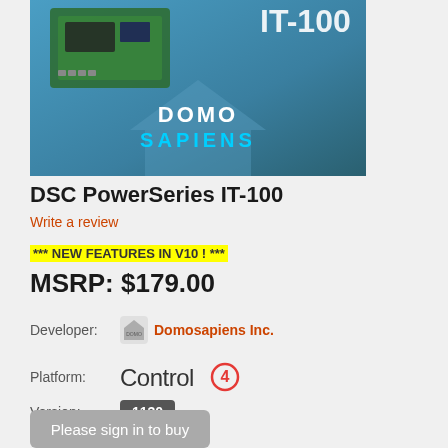[Figure (photo): Product image showing DSC PowerSeries IT-100 circuit board on a blue gradient background with DOMO SAPIENS logo and text IT-100]
DSC PowerSeries IT-100
Write a review
*** NEW FEATURES IN V10 ! ***
MSRP: $179.00
Developer: Domosapiens Inc.
Platform: Control4
Version: 1130
Please sign in to buy